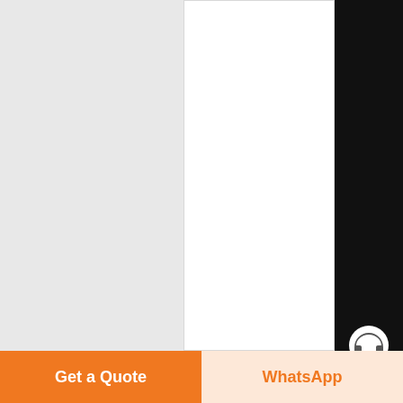the difference betweenOne of the conveyors is pivotally hinged the other conveyor,...
Know More
[Figure (photo): Industrial plant or factory facility photographed outdoors against a blue sky]
Convey Belt, Screw.
Chat
E-mail
Top
Get a Quote
WhatsApp